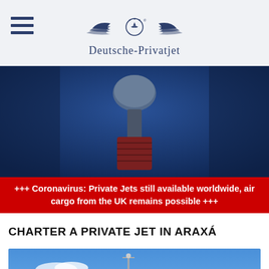Deutsche-Privatjet
[Figure (photo): Control tower of an airport photographed from below against a dark blue sky]
+++ Coronavirus: Private Jets still available worldwide, air cargo from the UK remains possible +++
CHARTER A PRIVATE JET IN ARAXÁ
[Figure (photo): Aerial ground-level view of a large international airport terminal building with aircraft and a tall lighting mast under a blue sky]